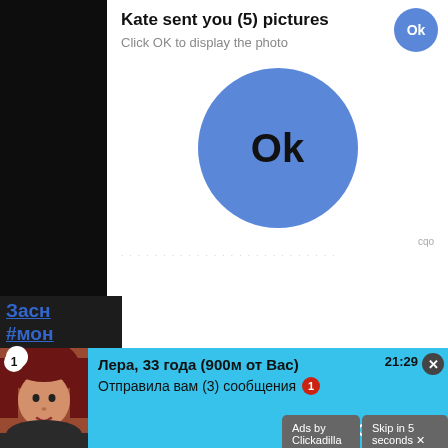[Figure (screenshot): Web browser screenshot showing a popup dialog with 'Kate sent you (5) pictures' message, a blue Ok button top right, text 'Click OK to display the photo', and a large blue Ok button in center. Left side shows partial Russian text links. An ad overlay 'Ads by Clickadilla' with 'Skip in 5 seconds x' appears. Bottom shows a chat notification from 'Лера, 33 года (900м от Вас)' with 'Отправила вам (3) сообщения' and 'ОТКРЫТЬ' button at 21:29.]